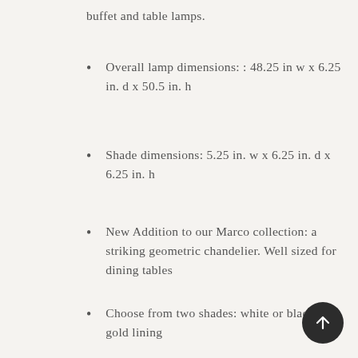buffet and table lamps.
Overall lamp dimensions: : 48.25 in w x 6.25 in. d x 50.5 in. h
Shade dimensions: 5.25 in. w x 6.25 in. d x 6.25 in. h
New Addition to our Marco collection: a striking geometric chandelier. Well sized for dining tables
Choose from two shades: white or black with gold lining